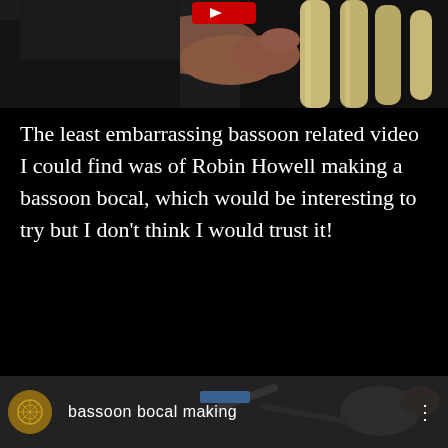[Figure (screenshot): Video thumbnail showing a person in a dark shirt working on what appears to be bassoon parts or tubes, with a red play button visible at the top center]
The least embarrassing bassoon related video I could find was of Robin Howell making a bassoon bocal, which would be interesting to try but I don't think I would trust it!
[Figure (screenshot): Video thumbnail showing bassoon-related tools and parts on a surface, with a circular logo/icon on the left, the text 'bassoon bocal making' overlaid in white, and a three-dot menu icon on the right]